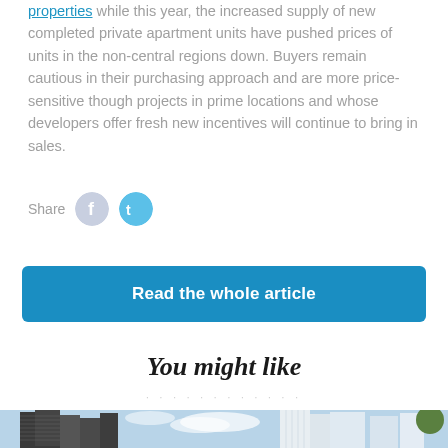properties while this year, the increased supply of new completed private apartment units have pushed prices of units in the non-central regions down. Buyers remain cautious in their purchasing approach and are more price-sensitive though projects in prime locations and whose developers offer fresh new incentives will continue to bring in sales.
Share
Read the whole article
You might like
[Figure (photo): Skyline photo of tall modern buildings against a blue sky with clouds, spanning the full width of the page at the bottom.]